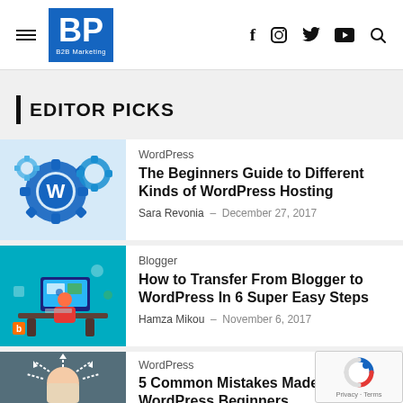BP B2B Marketing — navigation header with hamburger menu, logo, and social icons (f, Instagram, Twitter, YouTube, Search)
EDITOR PICKS
[Figure (illustration): WordPress logo with gear icons in blue and white]
WordPress
The Beginners Guide to Different Kinds of WordPress Hosting
Sara Revonia - December 27, 2017
[Figure (illustration): Person sitting at a desk with computer, Blogger to WordPress transfer concept illustration in teal/blue tones]
Blogger
How to Transfer From Blogger to WordPress In 6 Super Easy Steps
Hamza Mikou - November 6, 2017
[Figure (illustration): Person with arrows emanating from head, concept art for WordPress mistakes, dark chalkboard background]
WordPress
5 Common Mistakes Made by WordPress Beginners
Hamza Mikou - July 8, 2017